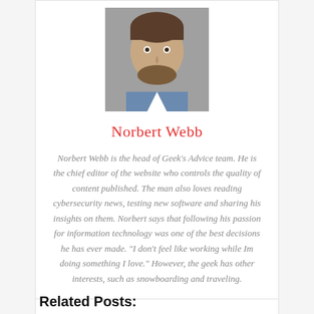[Figure (photo): Headshot photo of Norbert Webb, a man with beard, looking at camera]
Norbert Webb
Norbert Webb is the head of Geeks Advice team. He is the chief editor of the website who controls the quality of content published. The man also loves reading cybersecurity news, testing new software and sharing his insights on them. Norbert says that following his passion for information technology was one of the best decisions he has ever made. "I don't feel like working while Im doing something I love." However, the geek has other interests, such as snowboarding and traveling.
[Figure (other): Social media icons: Facebook (f), Twitter (bird), Google (G)]
Related Posts: